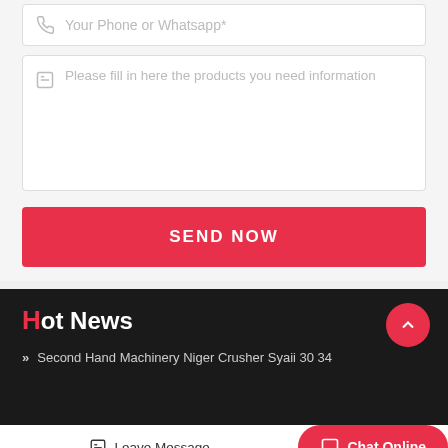Your Phone or Whatsapp*
Please fill in here the products you need information
SEND NOW
Hot News
Second Hand Machinery Niger Crusher Syaii 30 34
Leave Message
Chat Online